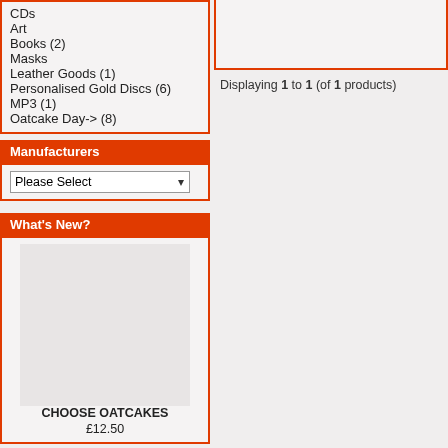CDs
Art
Books (2)
Masks
Leather Goods (1)
Personalised Gold Discs (6)
MP3 (1)
Oatcake Day-> (8)
Manufacturers
Please Select
What's New?
CHOOSE OATCAKES
£12.50
Quick Find
[Figure (screenshot): Empty top-right box with red border]
Displaying 1 to 1 (of 1 products)